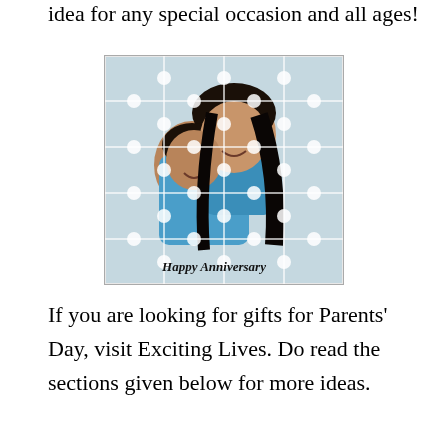idea for any special occasion and all ages!
[Figure (photo): A jigsaw puzzle image showing a couple laughing together, the woman on the man's back, both smiling widely. Text overlay at the bottom reads 'Happy Anniversary'.]
If you are looking for gifts for Parents' Day, visit Exciting Lives. Do read the sections given below for more ideas.